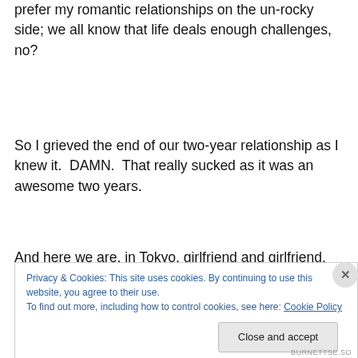prefer my romantic relationships on the un-rocky side; we all know that life deals enough challenges, no?
So I grieved the end of our two-year relationship as I knew it.  DAMN.  That really sucked as it was an awesome two years.
And here we are, in Tokyo, girlfriend and girlfriend.
Privacy & Cookies: This site uses cookies. By continuing to use this website, you agree to their use.
To find out more, including how to control cookies, see here: Cookie Policy
BURNETTSE.SO